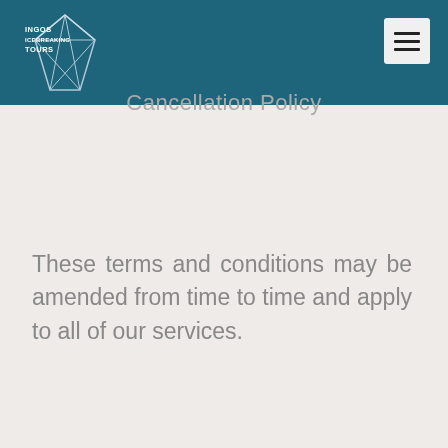[Figure (logo): Ingos Icebreaking Tours logo — geometric crystal/diamond shape in silver-white with text 'INGOS ICEBREAKING TOURS']
Cancellation Policy
These terms and conditions may be amended from time to time and apply to all of our services.